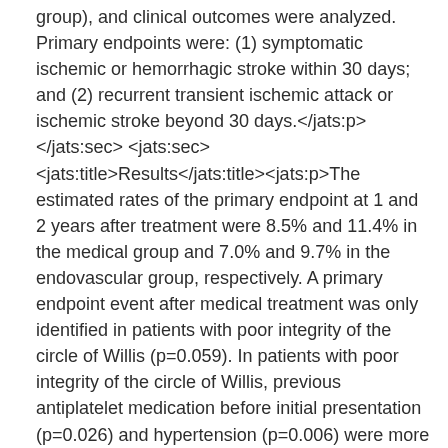group), and clinical outcomes were analyzed. Primary endpoints were: (1) symptomatic ischemic or hemorrhagic stroke within 30 days; and (2) recurrent transient ischemic attack or ischemic stroke beyond 30 days.</jats:p></jats:sec><jats:sec><jats:title>Results</jats:title><jats:p>The estimated rates of the primary endpoint at 1 and 2 years after treatment were 8.5% and 11.4% in the medical group and 7.0% and 9.7% in the endovascular group, respectively. A primary endpoint event after medical treatment was only identified in patients with poor integrity of the circle of Willis (p=0.059). In patients with poor integrity of the circle of Willis, previous antiplatelet medication before initial presentation (p=0.026) and hypertension (p=0.006) were more prevalent. During the follow-up period, complete arterial occlusion was identified in 9 patients. The circle of Willis score of the patients with complete arterial